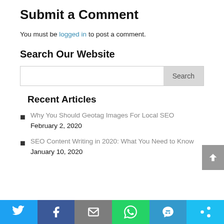Submit a Comment
You must be logged in to post a comment.
Search Our Website
[Figure (other): Search input box with Search button]
Recent Articles
Why You Should Geotag Images For Local SEO
February 2, 2020
SEO Content Writing in 2020: What You Need to Know
January 10, 2020
Social sharing bar: Twitter, Facebook, Email, WhatsApp, SMS, More